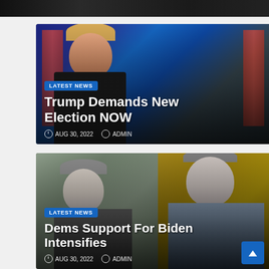[Figure (photo): Partial photo strip at top of page, dark background, cropped]
[Figure (photo): Donald Trump speaking at a rally, mouth open, fist raised, American flags and blue background behind him]
LATEST NEWS
Trump Demands New Election NOW
AUG 30, 2022   ADMIN
[Figure (photo): Split image: on the left a gray-haired man in a dark suit facing slightly right; on the right another man in a blue shirt against a yellow background with Ohio state outline logo]
LATEST NEWS
Dems Support For Biden Intensifies
AUG 30, 2022   ADMIN